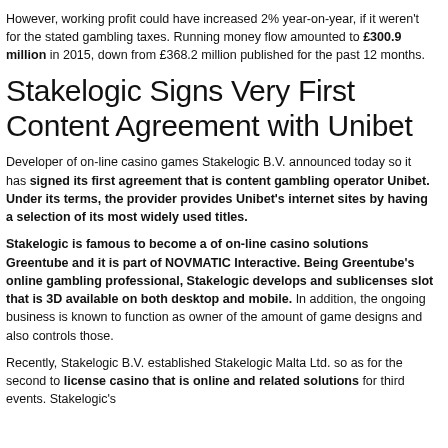However, working profit could have increased 2% year-on-year, if it weren't for the stated gambling taxes. Running money flow amounted to £300.9 million in 2015, down from £368.2 million published for the past 12 months.
Stakelogic Signs Very First Content Agreement with Unibet
Developer of on-line casino games Stakelogic B.V. announced today so it has signed its first agreement that is content gambling operator Unibet. Under its terms, the provider provides Unibet's internet sites by having a selection of its most widely used titles.
Stakelogic is famous to become a of on-line casino solutions Greentube and it is part of NOVMATIC Interactive. Being Greentube's online gambling professional, Stakelogic develops and sublicenses slot that is 3D available on both desktop and mobile. In addition, the ongoing business is known to function as owner of the amount of game designs and also controls those.
Recently, Stakelogic B.V. established Stakelogic Malta Ltd. so as for the second to license casino that is online and related solutions for third events. Stakelogic's